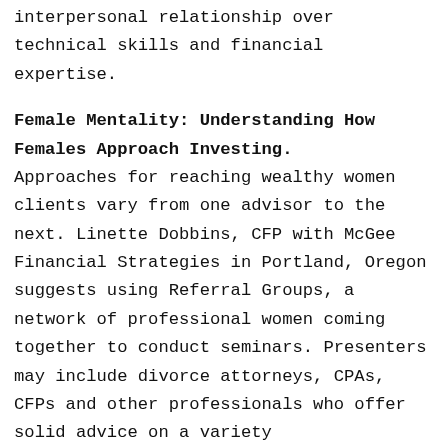interpersonal relationship over technical skills and financial expertise.
Female Mentality: Understanding How Females Approach Investing.
Approaches for reaching wealthy women clients vary from one advisor to the next. Linette Dobbins, CFP with McGee Financial Strategies in Portland, Oregon suggests using Referral Groups, a network of professional women coming together to conduct seminars. Presenters may include divorce attorneys, CPAs, CFPs and other professionals who offer solid advice on a variety